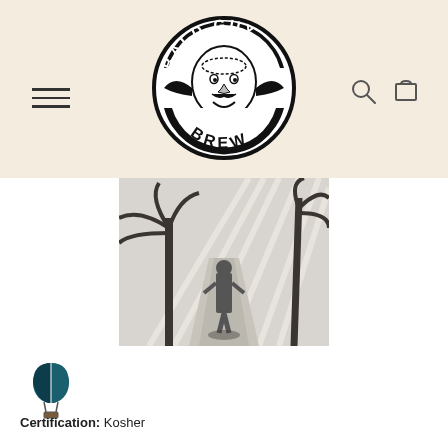[Figure (logo): Bald Guy Brew circular logo with illustrated bald man face and text around the border]
[Figure (illustration): Black and white woodcut-style illustration of a person standing in a tropical path with palm trees and radiating light]
[Figure (logo): Hot air balloon icon in teal/dark teal color]
Certification: Kosher